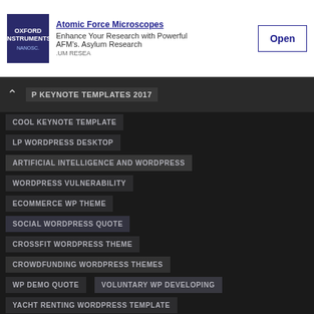[Figure (screenshot): Oxford Instruments advertisement banner with logo, text about AFM microscopes, and Open button]
P KEYNOTE TEMPLATES 2017
COOL KEYNOTE TEMPLATE
LP WORDPRESS DESKTOP
ARTIFICIAL INTELLIGENCE AND WORDPRESS
WORDPRESS VULNERABILITY
ECOMMERCE WP THEME
SOCIAL WORDPRESS QUOTE
CROSSFIT WORDPRESS THEME
CROWDFUNDING WORDPRESS THEMES
WP DEMO QUOTE
VOLUNTARY WP DEVELOPING
YACHT RENTING WORDPRESS TEMPLATE
MULLENWEG ON DIGITALISING
THEMEFUSE WORDPRESS
QUOTE MULLENWEG
JAKOB NIELSEN
CROSSFIT WORDPRESS 2017
CHARITY WORDPRESS THEMES